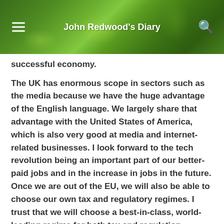John Redwood's Diary
successful economy.
The UK has enormous scope in sectors such as the media because we have the huge advantage of the English language. We largely share that advantage with the United States of America, which is also very good at media and internet-related businesses. I look forward to the tech revolution being an important part of our better-paid jobs and in the increase in jobs in the future. Once we are out of the EU, we will also be able to choose our own tax and regulatory regimes. I trust that we will choose a best-in-class, world-leading regime for both tax and regulation. Although I understand some of the irritations that the EU and others have with existing large technology